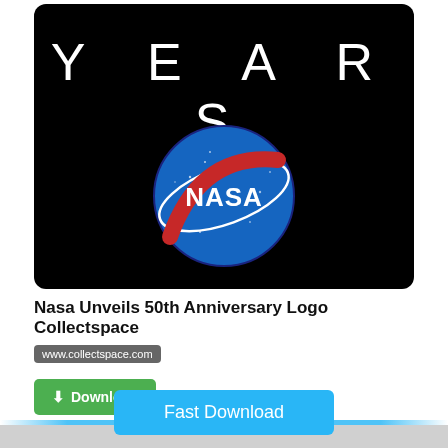[Figure (photo): Black background image showing 'YEARS' text in large white spaced letters and the NASA meatball logo (blue circle with red swoosh and white NASA text) centered below, resembling a 50th anniversary graphic.]
Nasa Unveils 50th Anniversary Logo Collectspace
www.collectspace.com
Download
Fast Download